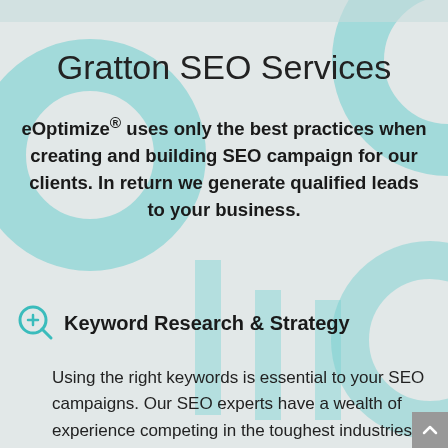Gratton SEO Services
eOptimize® uses only the best practices when creating and building SEO campaign for our clients. In return we generate qualified leads to your business.
Keyword Research & Strategy
Using the right keywords is essential to your SEO campaigns. Our SEO experts have a wealth of experience competing in the toughest industries with success. We will assess your